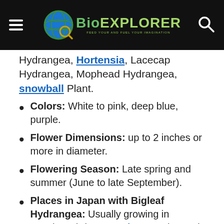BioExplorer navigation bar with logo
Hydrangea, Hortensia, Lacecap Hydrangea, Mophead Hydrangea, snowball Plant.
Colors: White to pink, deep blue, purple.
Flower Dimensions: up to 2 inches or more in diameter.
Flowering Season: Late spring and summer (June to late September).
Places in Japan with Bigleaf Hydrangea: Usually growing in temples, shrines, gardens, parks, and riverbanks. The best tourist spots are in Tokyo.